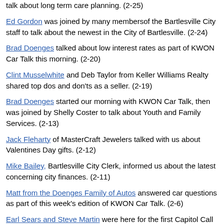talk about long term care planning. (2-25)
Ed Gordon was joined by many membersof the Bartlesville City staff to talk about the newest in the City of Bartlesville. (2-24)
Brad Doenges talked about low interest rates as part of KWON Car Talk this morning. (2-20)
Clint Musselwhite and Deb Taylor from Keller Williams Realty shared top dos and don'ts as a seller. (2-19)
Brad Doenges started our morning with KWON Car Talk, then was joined by Shelly Coster to talk about Youth and Family Services. (2-13)
Jack Fleharty of MasterCraft Jewelers talked with us about Valentines Day gifts. (2-12)
Mike Bailey, Bartlesville City Clerk, informed us about the latest concerning city finances. (2-11)
Matt from the Doenges Family of Autos answered car questions as part of this week's edition of KWON Car Talk. (2-6)
Earl Sears and Steve Martin were here for the first Capitol Call